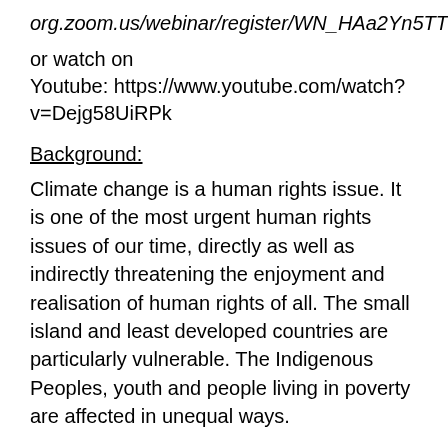org.zoom.us/webinar/register/WN_HAa2Yn5TThmpH)
or watch on
Youtube: https://www.youtube.com/watch?v=Dejg58UiRPk
Background:
Climate change is a human rights issue. It is one of the most urgent human rights issues of our time, directly as well as indirectly threatening the enjoyment and realisation of human rights of all. The small island and least developed countries are particularly vulnerable. The Indigenous Peoples, youth and people living in poverty are affected in unequal ways.